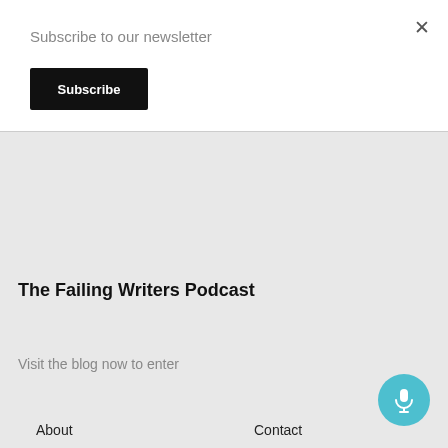Subscribe to our newsletter
Subscribe
×
The Failing Writers Podcast
Visit the blog now to enter
About
Episodes
Guests
Reviews
Contact